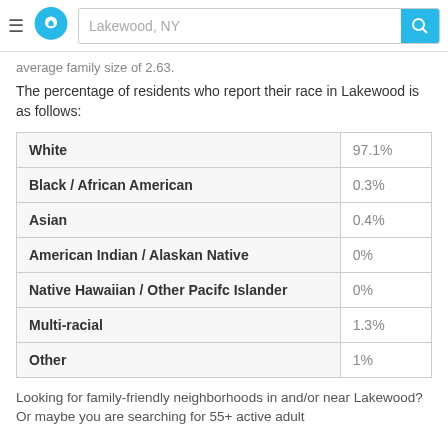Lakewood, NY
average family size of 2.63.
The percentage of residents who report their race in Lakewood is as follows:
| Race | Percentage |
| --- | --- |
| White | 97.1% |
| Black / African American | 0.3% |
| Asian | 0.4% |
| American Indian / Alaskan Native | 0% |
| Native Hawaiian / Other Pacifc Islander | 0% |
| Multi-racial | 1.3% |
| Other | 1% |
Looking for family-friendly neighborhoods in and/or near Lakewood? Or maybe you are searching for 55+ active adult